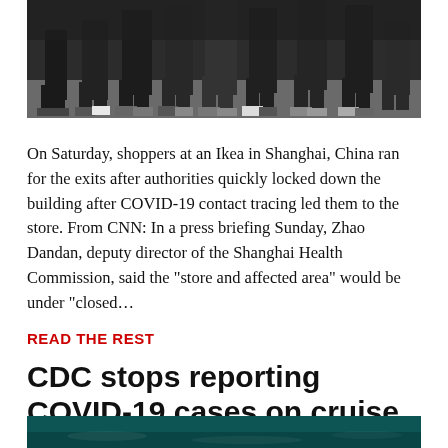[Figure (photo): People's legs and feet visible as shoppers rush toward exits, dark indoor setting]
On Saturday, shoppers at an Ikea in Shanghai, China ran for the exits after authorities quickly locked down the building after COVID-19 contact tracing led them to the store. From CNN: In a press briefing Sunday, Zhao Dandan, deputy director of the Shanghai Health Commission, said the "store and affected area" would be under "closed...
READ THE REST
CDC stops reporting COVID-19 cases on cruise ships
[Figure (photo): Partial view of a cruise ship or ocean scene with teal/dark water tones]